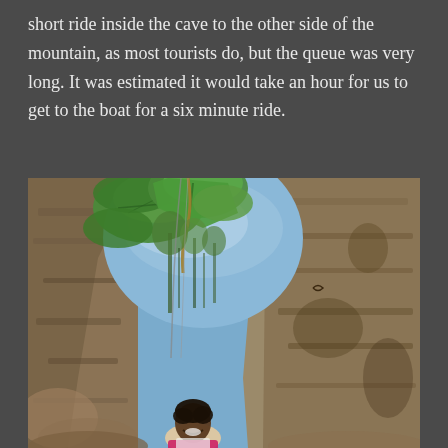short ride inside the cave to the other side of the mountain, as most tourists do, but the queue was very long. It was estimated it would take an hour for us to get to the boat for a six minute ride.
[Figure (photo): A person smiling and standing between large rocky cave walls, with lush green tropical trees and foliage visible above and through the cave opening against a blue sky.]